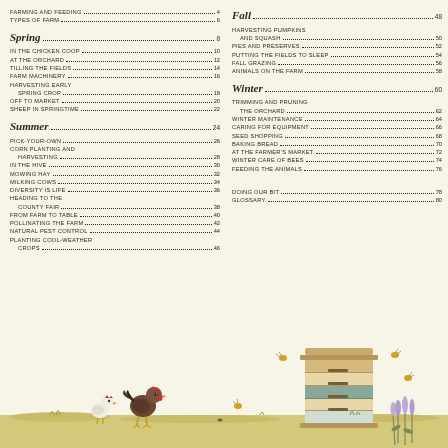FARMING AND FEEDING ... 4
TYPES OF FARM ... 6
SPRING ... 8
IN THE CHICKEN COOP ... 10
AT THE ORCHARD ... 12
TILLING THE FIELDS ... 14
FARM MACHINERY ... 16
HARVESTING EARLY SPRING CROP ... 18
OFF TO MARKET ... 20
SHEEP IN SPRINGTIME ... 22
SUMMER ... 24
PICK-YOUR-OWN ... 26
CORN PLANTING AND HARVESTING ... 28
IN THE HIVE ... 30
MOWING HAY ... 32
MILKING COWS ... 34
DIVERSITY IS LIFE ... 36
HEADING TO THE COUNTY FAIR ... 38
FROM FARM TO TABLE ... 40
POLLINATING THE FARM ... 42
NATURAL PEST CONTROL ... 44
PLANTING COOL-WEATHER CROPS ... 46
FALL ... 48
HARVESTING PUMPKINS AND SQUASH ... 50
PIES AND PRESERVES ... 52
PUTTING THE FIELDS TO SLEEP ... 54
FALL GRAZING ... 56
ANIMALS ON THE FARM ... 58
WINTER ... 60
TRIMMING AND PRUNING THE ORCHARD ... 62
WINTER MAINTENANCE ... 64
CARING FOR EQUIPMENT ... 66
SEED SHOPPING ... 68
BAKING BREAD ... 70
AT THE FARMER'S MARKET ... 72
WINTER CARE OF BEES ... 74
FEEDING THE ANIMALS ... 76
DOING OUR BIT ... 78
GLOSSARY ... 80
[Figure (illustration): Farm scene with chickens in foreground and a beehive stack with bees on the right, lavender flowers, grassy ground]